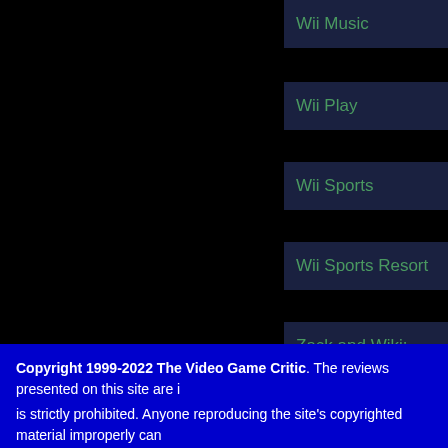Wii Music
Wii Play
Wii Sports
Wii Sports Resort
Zack and Wiki: Quest for Barbaros' Treasure
To
Screen shots courtesy of IGN.com, Family
Copyright 1999-2022 The Video Game Critic. The reviews presented on this site are is strictly prohibited. Anyone reproducing the site's copyrighted material improperly can